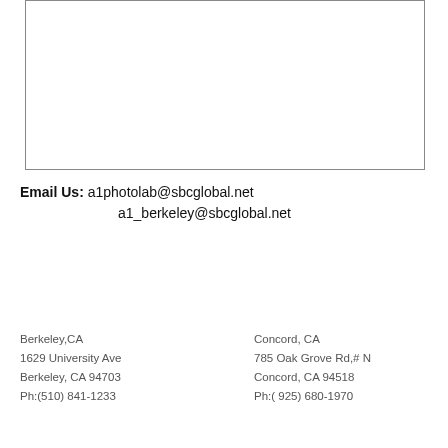[Figure (other): Empty bordered rectangle box at top of page]
Email Us: a1photolab@sbcglobal.net
a1_berkeley@sbcglobal.net
Berkeley,CA
1629 University Ave
Berkeley, CA 94703
Ph:(510) 841-1233
Concord, CA
785 Oak Grove Rd,# N
Concord, CA 94518
Ph:( 925) 680-1970